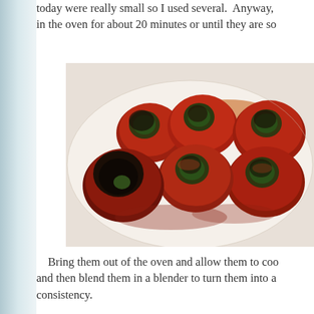today were really small so I used several.  Anyway, in the oven for about 20 minutes or until they are so
[Figure (photo): Roasted or baked stuffed tomatoes piled on a white plate, showing caramelized and charred skins with green herb stuffing visible]
Bring them out of the oven and allow them to coo and then blend them in a blender to turn them into a consistency.